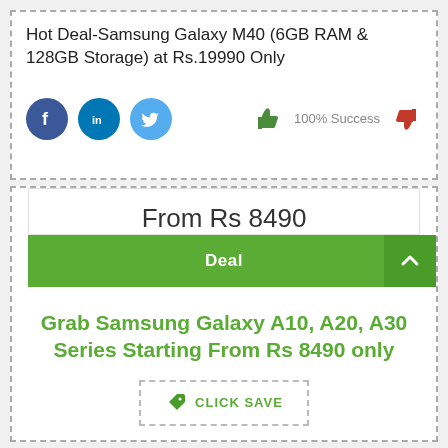Hot Deal-Samsung Galaxy M40 (6GB RAM & 128GB Storage) at Rs.19990 Only
[Figure (infographic): Social share icons (Facebook, LinkedIn, Twitter), thumbs up icon, 100% Success text, thumbs down icon]
From Rs 8490
Deal
Grab Samsung Galaxy A10, A20, A30 Series Starting From Rs 8490 only
CLICK SAVE